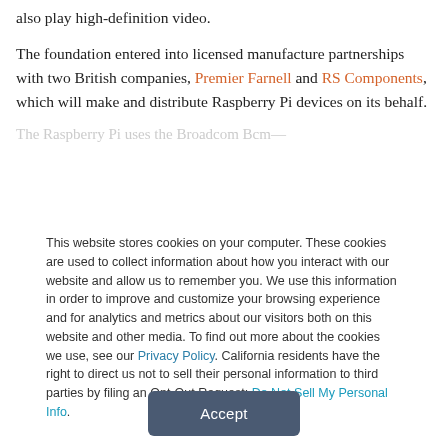also play high-definition video.
The foundation entered into licensed manufacture partnerships with two British companies, Premier Farnell and RS Components, which will make and distribute Raspberry Pi devices on its behalf.
This website stores cookies on your computer. These cookies are used to collect information about how you interact with our website and allow us to remember you. We use this information in order to improve and customize your browsing experience and for analytics and metrics about our visitors both on this website and other media. To find out more about the cookies we use, see our Privacy Policy. California residents have the right to direct us not to sell their personal information to third parties by filing an Opt-Out Request: Do Not Sell My Personal Info.
Accept